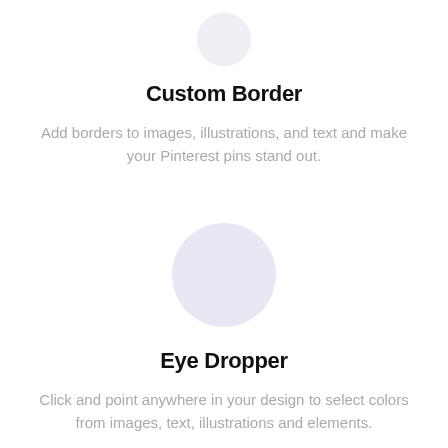[Figure (illustration): Partial circle (top half cut off) in light lavender/gray at the top of the page]
Custom Border
Add borders to images, illustrations, and text and make your Pinterest pins stand out.
[Figure (illustration): Full circle in light lavender/gray color centered on the page]
Eye Dropper
Click and point anywhere in your design to select colors from images, text, illustrations and elements.